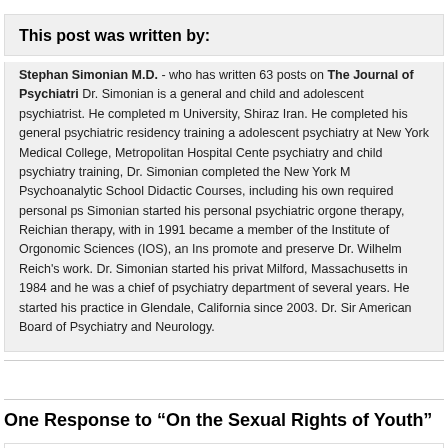This post was written by:
Stephan Simonian M.D. - who has written 63 posts on The Journal of Psychiatri... Dr. Simonian is a general and child and adolescent psychiatrist. He completed his medical training at Shiraz University, Shiraz Iran. He completed his general psychiatric residency training and fellowship in child and adolescent psychiatry at New York Medical College, Metropolitan Hospital Center. After completing his general psychiatry and child psychiatry training, Dr. Simonian completed the New York Medical College Psychoanalytic School Didactic Courses, including his own required personal psychoanalysis. Dr. Simonian started his personal psychiatric orgone therapy, Reichian therapy, with a Reichian therapist, and in 1991 became a member of the Institute of Orgonomic Sciences (IOS), an Institute established to promote and preserve Dr. Wilhelm Reich's work. Dr. Simonian started his private practice in Milford, Massachusetts in 1984 and he was a chief of psychiatry department of Milford Hospital for several years. He started his practice in Glendale, California since 2003. Dr. Simonian is board by American Board of Psychiatry and Neurology.
One Response to “On the Sexual Rights of Youth”
Joel Carlinsky says: